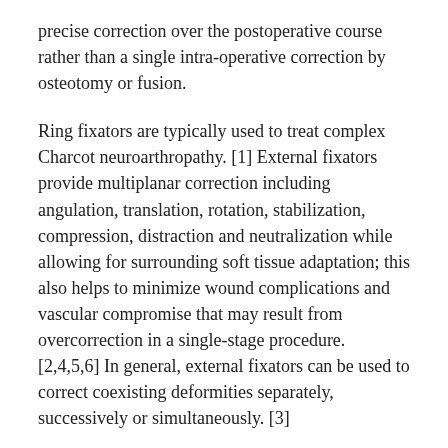precise correction over the postoperative course rather than a single intra-operative correction by osteotomy or fusion.
Ring fixators are typically used to treat complex Charcot neuroarthropathy. [1] External fixators provide multiplanar correction including angulation, translation, rotation, stabilization, compression, distraction and neutralization while allowing for surrounding soft tissue adaptation; this also helps to minimize wound complications and vascular compromise that may result from overcorrection in a single-stage procedure. [2,4,5,6] In general, external fixators can be used to correct coexisting deformities separately, successively or simultaneously. [3]
The VCAM™ fixator allows for adjustment